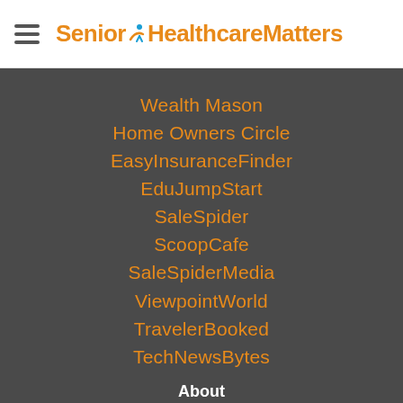Senior Healthcare Matters
Wealth Mason
Home Owners Circle
EasyInsuranceFinder
EduJumpStart
SaleSpider
ScoopCafe
SaleSpiderMedia
ViewpointWorld
TravelerBooked
TechNewsBytes
About